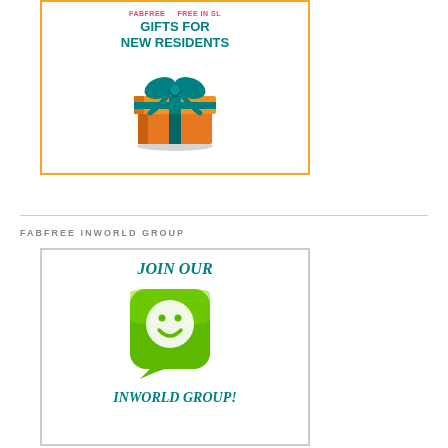[Figure (illustration): Promotional box with orange border showing pink text at top, teal bold text 'GIFTS FOR NEW RESIDENTS', and an orange gift box with teal ribbon below]
FABFREE INWORLD GROUP
[Figure (illustration): Promotional box with light border showing italic teal text 'JOIN OUR', a green rounded-square chat bubble icon with smiley face, and italic teal text 'INWORLD GROUP!' below]